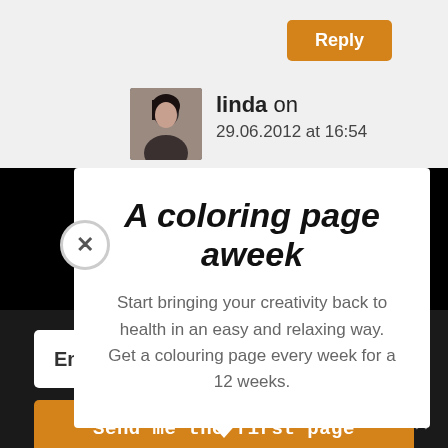Reply
linda on 29.06.2012 at 16:54
A coloring page aweek
Start bringing your creativity back to health in an easy and relaxing way. Get a colouring page every week for a 12 weeks.
Email
Send me the first page
Share This